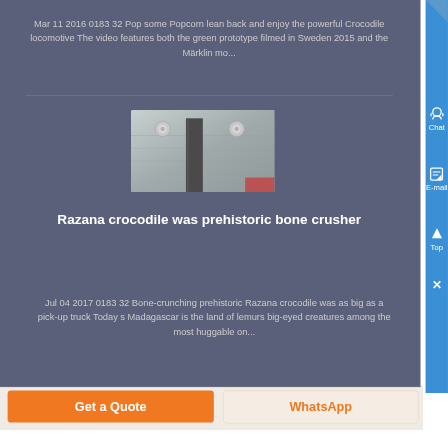Mar 11 2016 0183 32 Pop some Popcorn lean back and enjoy the powerful Crocodile locomotive The video features both the green prototype filmed in Sweden 2015 and the Märklin mo...
[Figure (photo): Close-up photo of metal machinery parts, showing bolts and a flat metal piece against a metallic surface.]
Razana crocodile was prehistoric bone crusher
Jul 04 2017 0183 32 Bone-crunching prehistoric Razana crocodile was as big as a pick-up truck Today s Madagascar is the land of lemurs big-eyed creatures among the most huggable on...